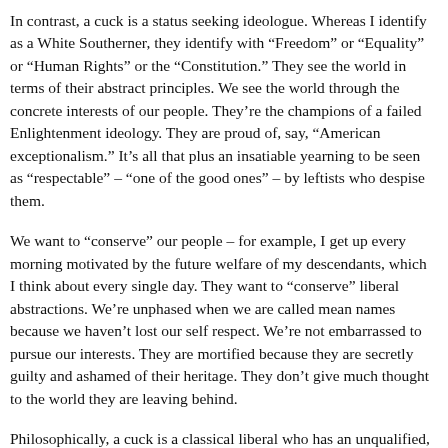In contrast, a cuck is a status seeking ideologue. Whereas I identify as a White Southerner, they identify with “Freedom” or “Equality” or “Human Rights” or the “Constitution.” They see the world in terms of their abstract principles. We see the world through the concrete interests of our people. They’re the champions of a failed Enlightenment ideology. They are proud of, say, “American exceptionalism.” It’s all that plus an insatiable yearning to be seen as “respectable” – “one of the good ones” – by leftists who despise them.
We want to “conserve” our people – for example, I get up every morning motivated by the future welfare of my descendants, which I think about every single day. They want to “conserve” liberal abstractions. We’re unphased when we are called mean names because we haven’t lost our self respect. We’re not embarrassed to pursue our interests. They are mortified because they are secretly guilty and ashamed of their heritage. They don’t give much thought to the world they are leaving behind.
Philosophically, a cuck is a classical liberal who has an unqualified, childlike reverence for “freedom” or “liberty.” In contrast, the Alt-